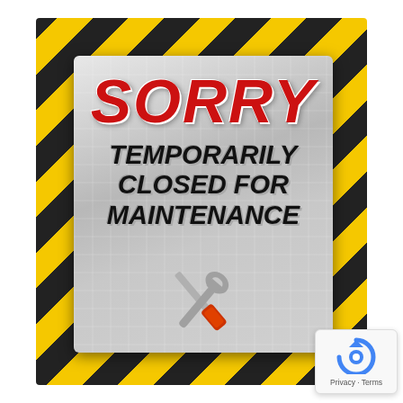[Figure (illustration): Maintenance sign with yellow-black caution stripe border and a silver diamond-plate metal sign reading SORRY TEMPORARILY CLOSED FOR MAINTENANCE with crossed wrench and screwdriver icons below]
[Figure (logo): reCAPTCHA badge with blue circular arrow logo and Privacy - Terms text]